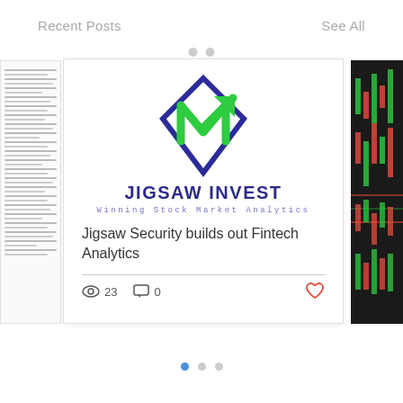Recent Posts    See All
[Figure (screenshot): A blog post carousel showing the Jigsaw Invest logo card. The main card features the Jigsaw Invest logo (a diamond shape with an N-arrow), brand name 'JIGSAW INVEST', tagline 'Winning Stock Market Analytics', post title 'Jigsaw Security builds out Fintech Analytics', view count 23, comment count 0, and a heart/like icon. Partial cards are visible on the left and right.]
Jigsaw Security builds out Fintech Analytics
23  0